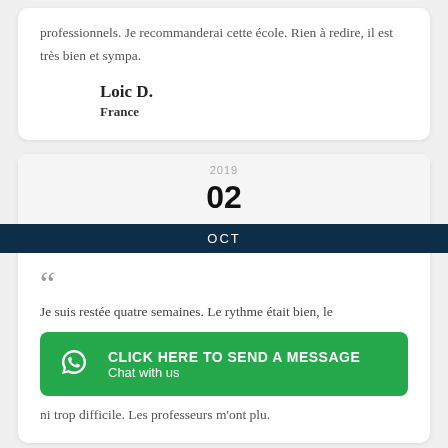professionnels. Je recommanderai cette école. Rien à redire, il est très bien et sympa.
Loic D.
France
2019
02
OCT
« Je suis restée quatre semaines. Le rythme était bien, le
[Figure (other): WhatsApp chat button: CLICK HERE TO SEND A MESSAGE / Chat with us]
ni trop difficile. Les professeurs m'ont plu.